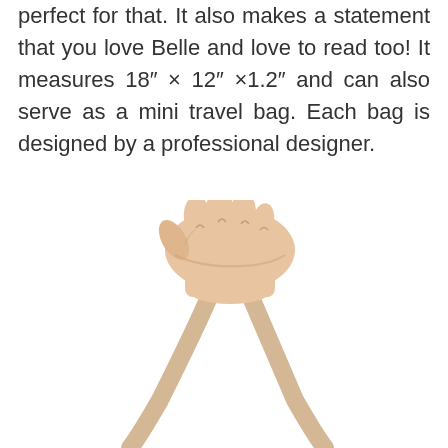perfect for that. It also makes a statement that you love Belle and love to read too! It measures 18″ × 12″ ×1.2″ and can also serve as a mini travel bag. Each bag is designed by a professional designer.
[Figure (photo): A hand gripping the handles of a beige/cream tote bag against a white background, showing the bag hanging down below the fist.]